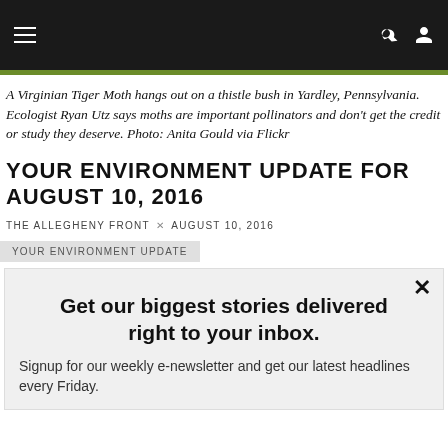Navigation bar with hamburger menu, search and user icons
A Virginian Tiger Moth hangs out on a thistle bush in Yardley, Pennsylvania. Ecologist Ryan Utz says moths are important pollinators and don't get the credit or study they deserve. Photo: Anita Gould via Flickr
YOUR ENVIRONMENT UPDATE FOR AUGUST 10, 2016
THE ALLEGHENY FRONT × AUGUST 10, 2016
YOUR ENVIRONMENT UPDATE
Get our biggest stories delivered right to your inbox.
Signup for our weekly e-newsletter and get our latest headlines every Friday.